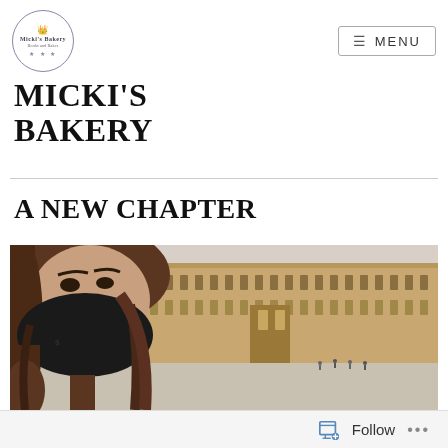[Figure (logo): Micki's Bakery circular logo with crown icon, bakery name, tagline and three stars]
MENU
MICKI'S BAKERY
A NEW CHAPTER
[Figure (photo): Person wearing a black face mask with long brown hair in the foreground, Palace of Versailles courtyard in the background]
Follow ...